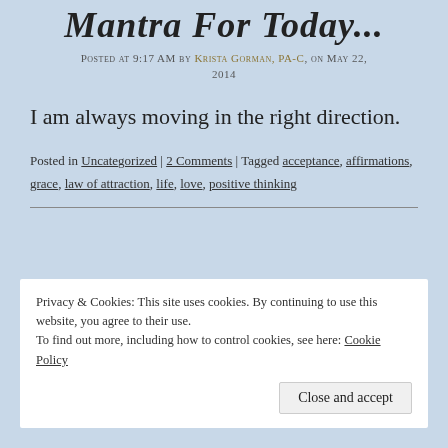Mantra For Today...
Posted at 9:17 AM by Krista Gorman, PA-C, on May 22, 2014
I am always moving in the right direction.
Posted in Uncategorized | 2 Comments | Tagged acceptance, affirmations, grace, law of attraction, life, love, positive thinking
Privacy & Cookies: This site uses cookies. By continuing to use this website, you agree to their use. To find out more, including how to control cookies, see here: Cookie Policy